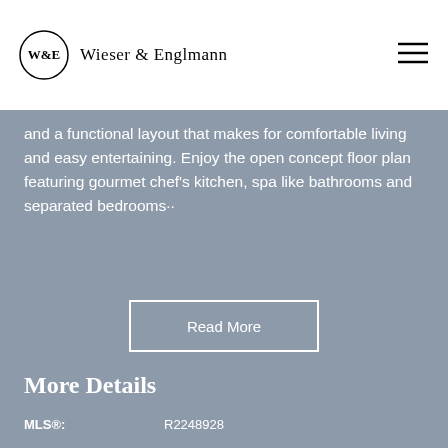Wieser & Englmann
and a functional layout that makes for comfortable living and easy entertaining. Enjoy the open concept floor plan featuring gourmet chef's kitchen, spa like bathrooms and separated bedrooms··
Read More
More Details
| Field | Value |
| --- | --- |
| MLS®: | R2248928 |
| Bedrooms: | 2 |
| Bathrooms: | 2 |